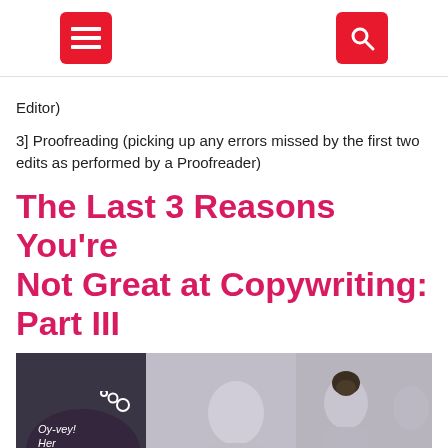[Menu icon] [Search icon]
Editor)
3] Proofreading (picking up any errors missed by the first two edits as performed by a Proofreader)
The Last 3 Reasons You’re Not Great at Copywriting: Part III
[Figure (photo): Photo of people in background with a thought bubble overlay text reading 'Oy-vey! Her copywriting makes me']